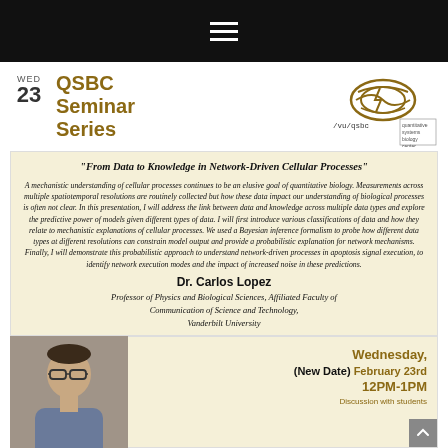Navigation menu (hamburger icon)
WED 23
QSBC Seminar Series
[Figure (logo): QSBC / vu/qsbc logo with stylized shell graphic and text 'quantitative systems biology center']
"From Data to Knowledge in Network-Driven Cellular Processes"
A mechanistic understanding of cellular processes continues to be an elusive goal of quantitative biology. Measurements across multiple spatiotemporal resolutions are routinely collected but how these data impact our understanding of biological processes is often not clear. In this presentation, I will address the link between data and knowledge across multiple data types and explore the predictive power of models given different types of data. I will first introduce various classifications of data and how they relate to mechanistic explanations of cellular processes. We used a Bayesian inference formalism to probe how different data types at different resolutions can constrain model output and provide a probabilistic explanation for network mechanisms. Finally, I will demonstrate this probabilistic approach to understand network-driven processes in apoptosis signal execution, to identify network execution modes and the impact of increased noise in these predictions.
Dr. Carlos Lopez
Professor of Physics and Biological Sciences, Affiliated Faculty of Communication of Science and Technology, Vanderbilt University
[Figure (photo): Portrait photo of Dr. Carlos Lopez, a man with glasses]
Wednesday, (New Date) February 23rd 12PM-1PM Discussion with students